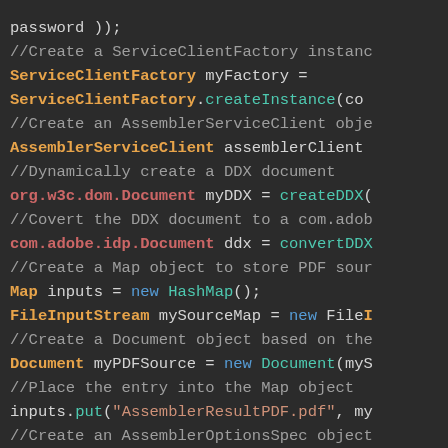[Figure (screenshot): Syntax-highlighted Java source code on a dark background showing ServiceClientFactory, AssemblerServiceClient, DDX document creation, and related code snippets.]